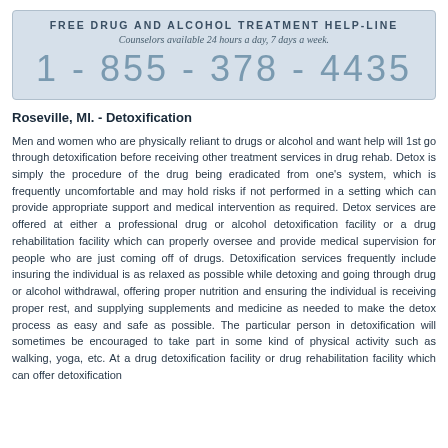[Figure (infographic): Blue box with FREE DRUG AND ALCOHOL TREATMENT HELP-LINE, counselors available 24 hours a day 7 days a week, phone number 1-855-378-4435]
Roseville, MI. - Detoxification
Men and women who are physically reliant to drugs or alcohol and want help will 1st go through detoxification before receiving other treatment services in drug rehab. Detox is simply the procedure of the drug being eradicated from one's system, which is frequently uncomfortable and may hold risks if not performed in a setting which can provide appropriate support and medical intervention as required. Detox services are offered at either a professional drug or alcohol detoxification facility or a drug rehabilitation facility which can properly oversee and provide medical supervision for people who are just coming off of drugs. Detoxification services frequently include insuring the individual is as relaxed as possible while detoxing and going through drug or alcohol withdrawal, offering proper nutrition and ensuring the individual is receiving proper rest, and supplying supplements and medicine as needed to make the detox process as easy and safe as possible. The particular person in detoxification will sometimes be encouraged to take part in some kind of physical activity such as walking, yoga, etc. At a drug detoxification facility or drug rehabilitation facility which can offer detoxification services, the client will be given every effort the individual can use